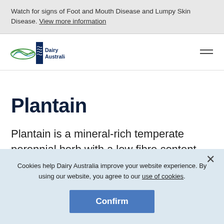Watch for signs of Foot and Mouth Disease and Lumpy Skin Disease. View more information
[Figure (logo): Dairy Australia logo with stylized cow/landscape icon and text 'Dairy Australia']
Plantain
Plantain is a mineral-rich temperate perennial herb with a low fibre content that
Cookies help Dairy Australia improve your website experience. By using our website, you agree to our use of cookies.
Confirm